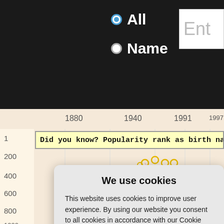[Figure (screenshot): Website UI showing radio buttons for 'All' and 'Name' search options with a text entry box, and a partially visible timeline chart of name popularity ranks from 1880 to 2003+]
Did you know? Popularity rank as birth na
[Figure (other): Cookie consent dialog overlay with title 'We use cookies', body text about cookie policy, green 'Yes I agree' button, red 'I disagree' button, gray 'Read more' button, and footer 'Free cookie consent by cookie-script.com']